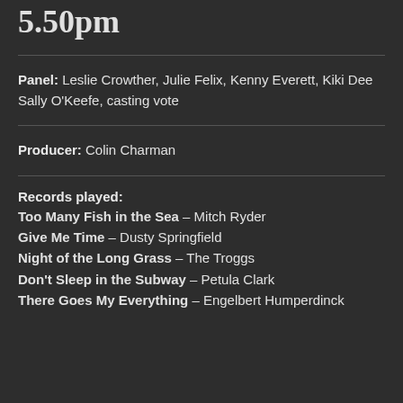5.50pm
Panel: Leslie Crowther, Julie Felix, Kenny Everett, Kiki Dee Sally O'Keefe, casting vote
Producer: Colin Charman
Records played:
Too Many Fish in the Sea – Mitch Ryder
Give Me Time – Dusty Springfield
Night of the Long Grass – The Troggs
Don't Sleep in the Subway – Petula Clark
There Goes My Everything – Engelbert Humperdinck